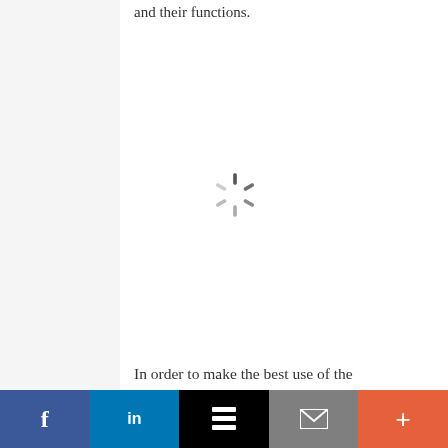and their functions.
[Figure (other): Loading spinner (circular progress indicator) shown in center of content area]
In order to make the best use of the software, it's important to clearly
Facebook | LinkedIn | Buffer | Email | More